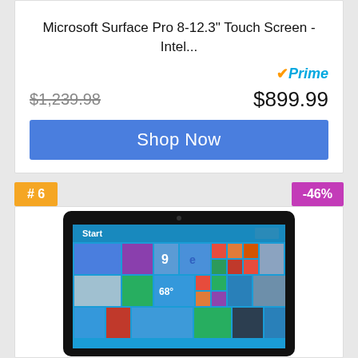Microsoft Surface Pro 8-12.3" Touch Screen - Intel...
Prime
$1,239.98  $899.99
Shop Now
# 6
-46%
[Figure (photo): Microsoft Surface tablet showing Windows 8 Start screen with colorful tiles]